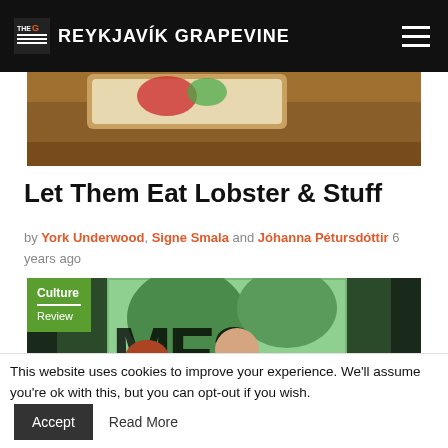THE G REYKJAVÍK GRAPEVINE
[Figure (photo): Partial view of a food/plate image at top of article]
Let Them Eat Lobster & Stuff
by York Underwood, Signe Smala and Jóhanna Pétursdóttir 6 years ago
[Figure (photo): A chef in a red apron talking to two seated customers inside a restaurant, with large window and greenery behind. Category badge in top-left corner reading Culture / Review]
This website uses cookies to improve your experience. We'll assume you're ok with this, but you can opt-out if you wish.